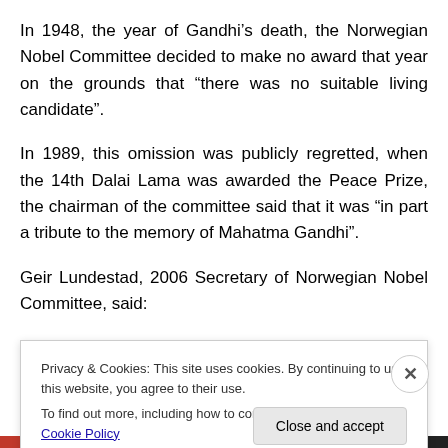In 1948, the year of Gandhi’s death, the Norwegian Nobel Committee decided to make no award that year on the grounds that “there was no suitable living candidate”.
In 1989, this omission was publicly regretted, when the 14th Dalai Lama was awarded the Peace Prize, the chairman of the committee said that it was “in part a tribute to the memory of Mahatma Gandhi”.
Geir Lundestad, 2006 Secretary of Norwegian Nobel Committee, said:
Privacy & Cookies: This site uses cookies. By continuing to use this website, you agree to their use.
To find out more, including how to control cookies, see here: Cookie Policy